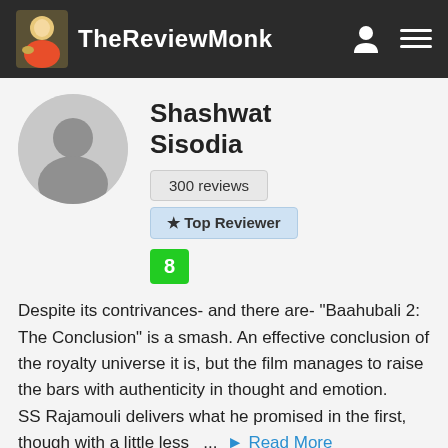TheReviewMonk
Shashwat Sisodia
300 reviews
★ Top Reviewer
8
Despite its contrivances- and there are- "Baahubali 2: The Conclusion" is a smash. An effective conclusion of the royalty universe it is, but the film manages to raise the bars with authenticity in thought and emotion.
SS Rajamouli delivers what he promised in the first, though with a little less  ...  ▸ Read More
👍 Like  0   September 19, 19
Ajay lawyer